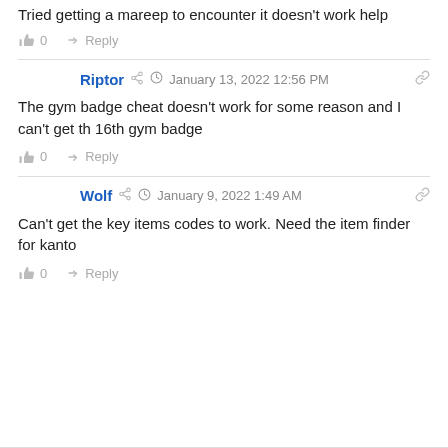Tried getting a mareep to encounter it doesn't work help
0  Reply
Riptor  January 13, 2022 12:56 PM
The gym badge cheat doesn't work for some reason and I can't get th 16th gym badge
0  Reply
Wolf  January 9, 2022 1:49 AM
Can't get the key items codes to work. Need the item finder for kanto
0  Reply